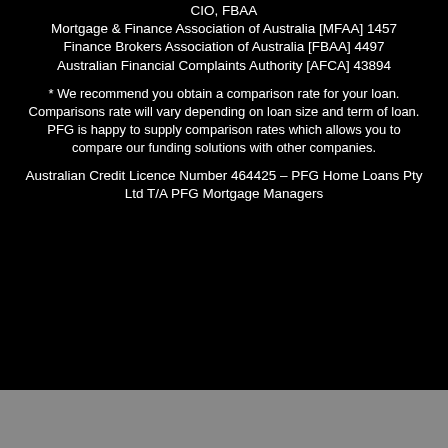CIO, FBAA
Mortgage & Finance Association of Australia [MFAA] 1457
Finance Brokers Association of Australia [FBAA] 4497
Australian Financial Complaints Authority [AFCA] 43894
* We recommend you obtain a comparison rate for your loan. Comparisons rate will vary depending on loan size and term of loan. PFG is happy to supply comparison rates which allows you to compare our funding solutions with other companies.
Australian Credit Licence Number 464425 – PFG Home Loans Pty Ltd T/A PFG Mortgage Managers